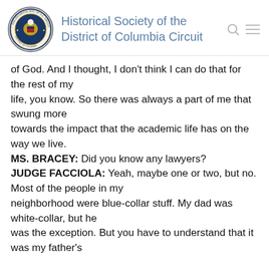[Figure (logo): Seal/logo of the Historical Society of the District of Columbia Circuit]
Historical Society of the District of Columbia Circuit
of God. And I thought, I don't think I can do that for the rest of my life, you know. So there was always a part of me that swung more towards the impact that the academic life has on the way we live.
MS. BRACEY: Did you know any lawyers?
JUDGE FACCIOLA: Yeah, maybe one or two, but no. Most of the people in my neighborhood were blue-collar stuff. My dad was white-collar, but he was the exception. But you have to understand that it was my father's